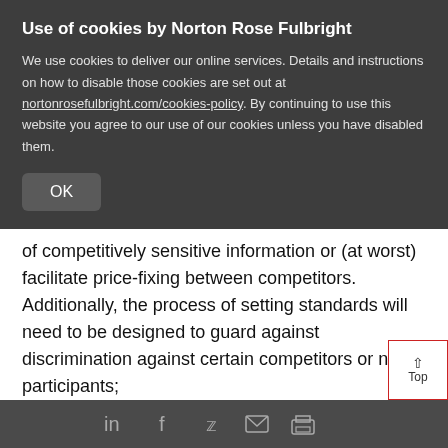Use of cookies by Norton Rose Fulbright
We use cookies to deliver our online services. Details and instructions on how to disable those cookies are set out at nortonrosefulbright.com/cookies-policy. By continuing to use this website you agree to our use of our cookies unless you have disabled them.
OK
of competitively sensitive information or (at worst) facilitate price-fixing between competitors.  Additionally, the process of setting standards will need to be designed to guard against discrimination against certain competitors or non-participants;
Access to market “dominant platforms”: as a result of their retail activities, certain busine…